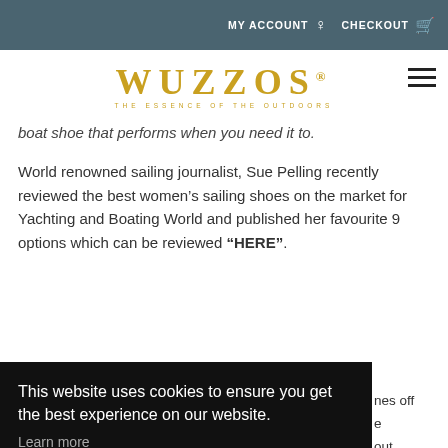MY ACCOUNT  CHECKOUT
[Figure (logo): WUZZOS logo with tagline 'THE ESSENCE OF THE OUTDOORS' in gold, with hamburger menu icon]
boat shoe that performs when you need it to.
World renowned sailing journalist, Sue Pelling recently reviewed the best women’s sailing shoes on the market for Yachting and Boating World and published her favourite 9 options which can be reviewed “HERE”.
Wuzzos have partnered with Miera Freeh, the award
This website uses cookies to ensure you get the best experience on our website.
Learn more
Got it!
nes off
e
out
OW IT
Technical Information